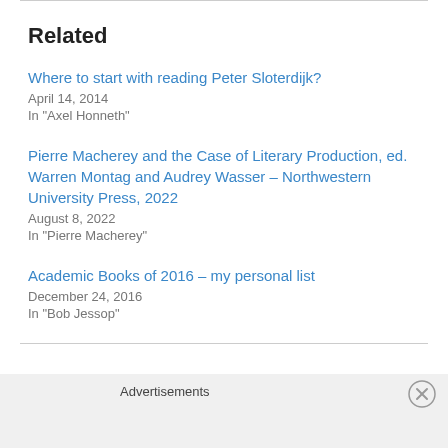Related
Where to start with reading Peter Sloterdijk?
April 14, 2014
In "Axel Honneth"
Pierre Macherey and the Case of Literary Production, ed. Warren Montag and Audrey Wasser – Northwestern University Press, 2022
August 8, 2022
In "Pierre Macherey"
Academic Books of 2016 – my personal list
December 24, 2016
In "Bob Jessop"
Advertisements